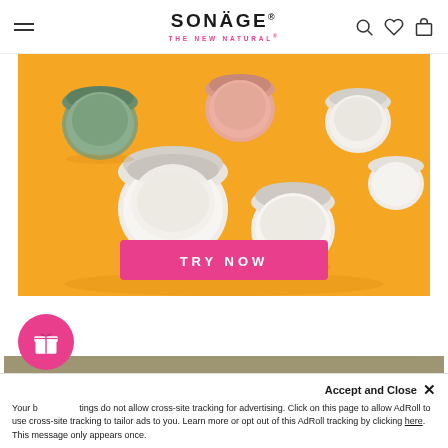SONÄGE® THE NEW NATURAL®
[Figure (photo): Sonäge skincare product jars with lids open arranged on a yellow/orange background with a pink 'TRY NOW' button]
[Figure (other): Tan/khaki colored section background]
Your browser settings do not allow cross-site tracking for advertising. Click on this page to allow AdRoll to use cross-site tracking to tailor ads to you. Learn more or opt out of this AdRoll tracking by clicking here. This message only appears once.